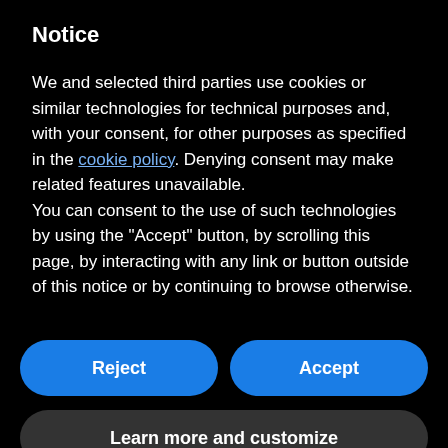Notice
We and selected third parties use cookies or similar technologies for technical purposes and, with your consent, for other purposes as specified in the cookie policy. Denying consent may make related features unavailable.
You can consent to the use of such technologies by using the “Accept” button, by scrolling this page, by interacting with any link or button outside of this notice or by continuing to browse otherwise.
Reject
Accept
Learn more and customize
at Three Standards Currently Being Developed
LACTATION MATT
Translate »